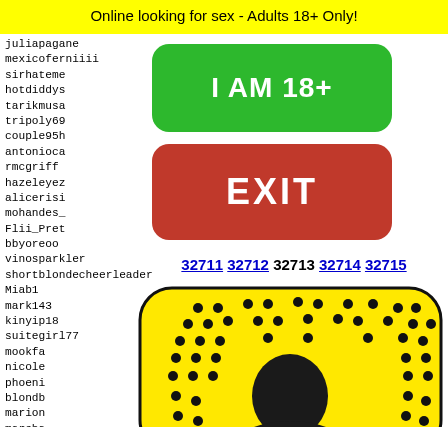Online looking for sex - Adults 18+ Only!
juliapagane
mexicoferniiii
sirhateme
hotdiddys
tarikmusa
tripoly69
couple95h
antonioca
rmcgriff
hazeleyez
alicerisi
mohandes_
Flii_Pret
bbyoreoo
vinosparkler
shortblondecheerleader
Miab1
mark143
kinyip18
suitegirl77
mookfa
nicole
phoeni
blondb
marion
marsha
[Figure (other): Green button with text I AM 18+]
[Figure (other): Red button with text EXIT]
32711 32712 32713 32714 32715
[Figure (photo): Snapchat-style yellow ghost icon with person visible]